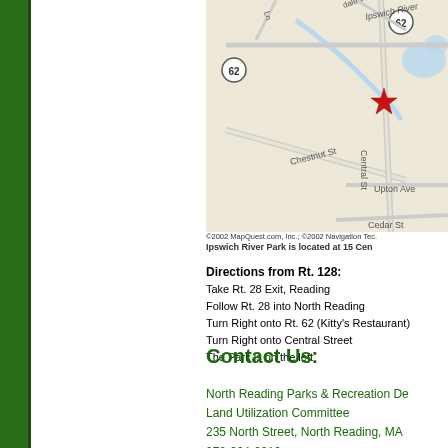[Figure (map): MapQuest map showing Ipswich River area with roads including Chestnut St, Central St, Upton Ave, Cedar St, and route 62 markers. A red star marks the location of Ipswich River Park at 15 Central Street.]
©2002 MapQuest.com, Inc.; ©2002 Navigation Tec. Ipswich River Park is located at 15 Cen
Directions from Rt. 128:
Take Rt. 28 Exit, Reading
Follow Rt. 28 into North Reading
Turn Right onto Rt. 62 (Kitty's Restaurant)
Turn Right onto Central Street
The Park is on the left
Contact Us:
North Reading Parks & Recreation D
Land Utilization Committee
235 North Street, North Reading, MA
978-664-6016